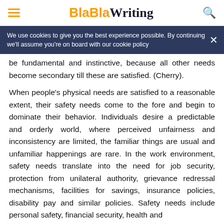BlaBlaWriting
We use cookies to give you the best experience possible. By continuing we'll assume you're on board with our cookie policy
be fundamental and instinctive, because all other needs become secondary till these are satisfied. (Cherry).
When people's physical needs are satisfied to a reasonable extent, their safety needs come to the fore and begin to dominate their behavior. Individuals desire a predictable and orderly world, where perceived unfairness and inconsistency are limited, the familiar things are usual and unfamiliar happenings are rare. In the work environment, safety needs translate into the need for job security, protection from unilateral authority, grievance redressal mechanisms, facilities for savings, insurance policies, disability pay and similar policies. Safety needs include personal safety, financial security, health and